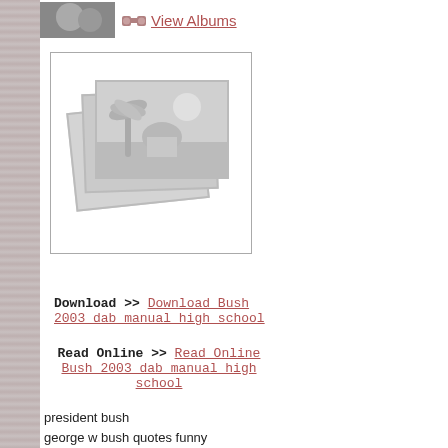[Figure (photo): Thumbnail photo of people at top left, with binoculars icon and 'View Albums' link]
[Figure (photo): Stack of photo placeholders with palm tree scene, inside a bordered box]
Download >> Download Bush 2003 dab manual high school
Read Online >> Read Online Bush 2003 dab manual high school
president bush
george w bush quotes funny